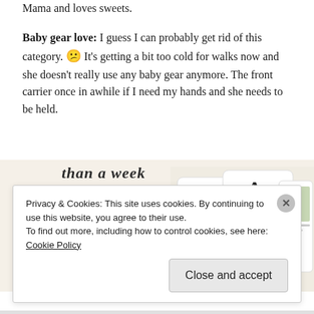Mama and loves sweets.
Baby gear love:  I guess I can probably get rid of this category. 😕  It's getting a bit too cold for walks now and she doesn't really use any baby gear anymore.  The front carrier once in awhile if I need my hands and she needs to be held.
[Figure (screenshot): Advertisement banner showing 'than a week' text, a green 'Explore options' button, and screenshots of a food/recipe app interface on a cream/beige background.]
Privacy & Cookies: This site uses cookies. By continuing to use this website, you agree to their use.
To find out more, including how to control cookies, see here: Cookie Policy
Close and accept